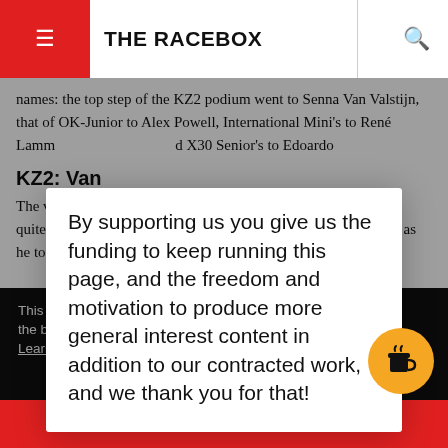THE RACEBOX
names: the top step of the KZ2 podium went to Senna Van Valstijn, that of OK-Junior to Alex Powell, International Mini's to René Lamm... and X30 Senior's to Edoardo...
KZ2: Van...
The victory... (kart/TM) in KZ2 is quite... maiden important... as he took ...Final, ...ried to ...arly lead
[Figure (other): Modal popup dialog with text: By supporting us you give us the funding to keep running this page, and the freedom and motivation to produce more general interest content in addition to our contracted work, and we thank you for that!]
This we... the bes...
Learn m...
Got it!
ART/TM) who also managed to find his way past Bosco, third